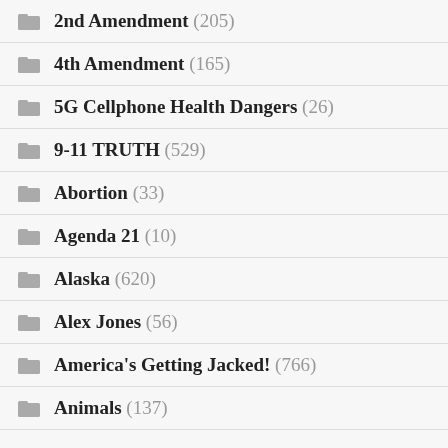2nd Amendment (205)
4th Amendment (165)
5G Cellphone Health Dangers (26)
9-11 TRUTH (529)
Abortion (33)
Agenda 21 (10)
Alaska (620)
Alex Jones (56)
America's Getting Jacked! (766)
Animals (137)